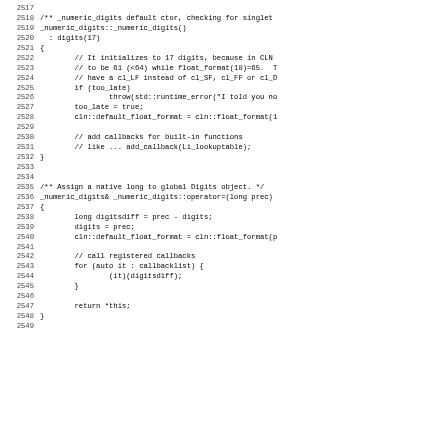[Figure (screenshot): Source code listing in C++ showing lines 2517-2548, including _numeric_digits default constructor and operator= for assigning a native long to global Digits object, with line numbers on the left.]